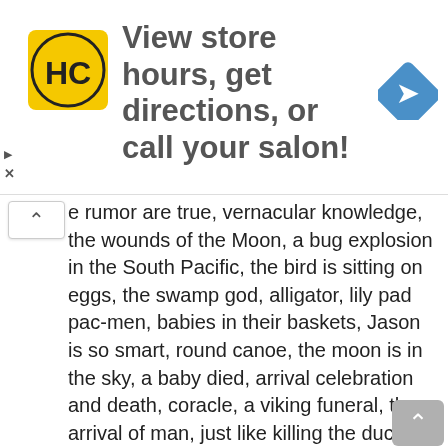[Figure (other): Advertisement banner: HC logo (yellow square with black HC letters), text 'View store hours, get directions, or call your salon!', blue navigation arrow icon on the right]
e rumor are true, vernacular knowledge, the wounds of the Moon, a bug explosion in the South Pacific, the bird is sitting on eggs, the swamp god, alligator, lily pad pac-men, babies in their baskets, Jason is so smart, round canoe, the moon is in the sky, a baby died, arrival celebration and death, coracle, a viking funeral, the arrival of man, just like killing the duck would be horrible, Connor: “I grew up on a farm, all I know are kangaroos,” the judgement is a leftover, they literally become that which they ate, only a line of text, these fish that you love to eat, a Thanksgiving story for Americans, parading around in their costumes, amateur journalism, all online at Mockman.com, gold rings, tearing a fish apart, we're basically just a big tube, teeth on one end and a pooper on the other, cut to the party inside the